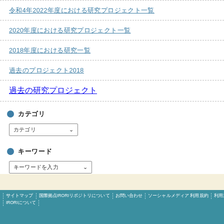令和2022年度における研究プロジェクト一覧
2020年度における研究プロジェクト一覧
2018年度における研究一覧
過去のプロジェクト2018
過去の研究プロジェクト
カテゴリ
カテゴリ ▾
キーワード
キーワードを入力 ▾
サイトマップ | 国際拠点IROリポジトリについて | お問い合わせ | ソーシャルメディア 利用規約 | 利用規約 | プライバシー